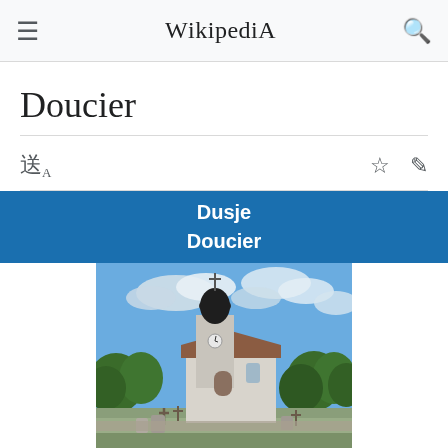Wikipedia
Doucier
Dusje
Doucier
[Figure (photo): Photograph of a church with a dark onion-dome bell tower, white stone walls, a cemetery in the foreground with crosses and grave markers, surrounded by green trees, and a partly cloudy blue sky.]